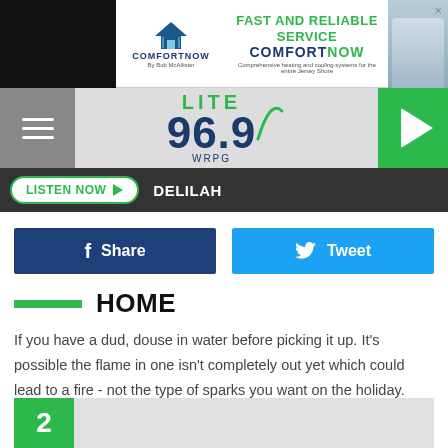[Figure (screenshot): ComfortNow advertisement banner - Fast and Reliable Service]
[Figure (logo): Lite 96.9 WRPG radio station header with menu button and play button]
LISTEN NOW ▶  DELILAH
Share
Tweet
HOME
If you have a dud, douse in water before picking it up. It's possible the flame in one isn't completely out yet which could lead to a fire - not the type of sparks you want on the holiday.
2